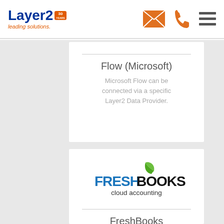[Figure (logo): Layer2 leading solutions logo with 30 years badge]
[Figure (other): Navigation icons: envelope, phone, hamburger menu]
Flow (Microsoft)
Microsoft Flow can be connected via a specific Layer2 Data Provider.
[Figure (logo): FreshBooks cloud accounting logo]
FreshBooks integration
FreshBooks accounting can be integrated with